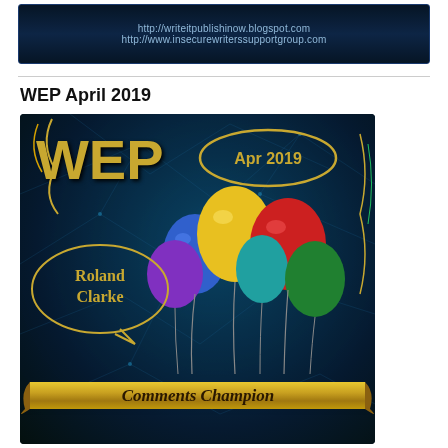[Figure (illustration): Dark banner header with URLs: http://writeitpublishinow.blogspot.com and http://www.insecurewriterssupportgroup.com on starfield background]
WEP April 2019
[Figure (illustration): WEP April 2019 Comments Champion badge. Dark teal network/starfield background with colorful balloons (blue, yellow, red, purple, teal, green). 'WEP' in large gold text top-left. 'Apr 2019' in gold oval speech bubble top-right. 'Roland Clarke' in gold circle speech bubble left-center. Gold banner ribbon at bottom reading 'Comments Champion'.]